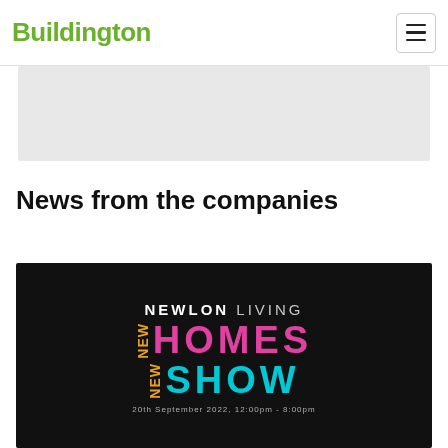Buildington
[Figure (other): Gray advertisement banner placeholder area]
News from the companies
[Figure (illustration): Newlon Living New Homes New Show promotional event banner on black background with colored text. Event: 20th September 2022, 12:00pm - 8:00pm]